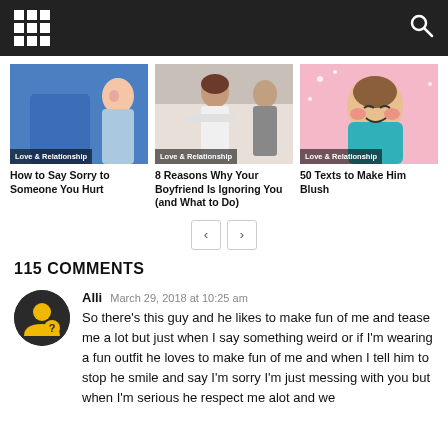Navigation bar with grid menu and search icon
[Figure (screenshot): Article card: How to Say Sorry to Someone You Hurt, Love & Relationship category]
[Figure (screenshot): Article card: 8 Reasons Why Your Boyfriend Is Ignoring You (and What to Do), Love & Relationship category]
[Figure (screenshot): Article card: 50 Texts to Make Him Blush, Love & Relationship category]
115 COMMENTS
Alli  March 29, 2018 at 10:25 am
So there's this guy and he likes to make fun of me and tease me a lot but just when I say something weird or if I'm wearing a fun outfit he loves to make fun of me and when I tell him to stop he smile and say I'm sorry I'm just messing with you but when I'm serious he respect me alot and we